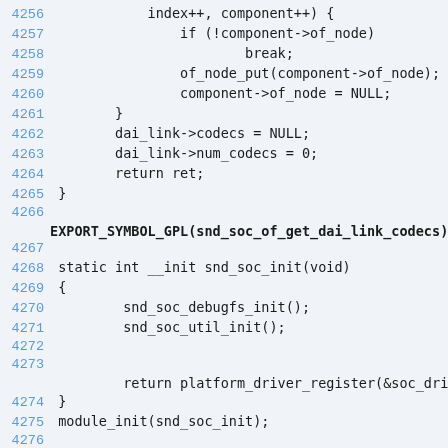4256    index++, component++) {
4257        if (!component->of_node)
4258                break;
4259        of_node_put(component->of_node);
4260        component->of_node = NULL;
4261    }
4262    dai_link->codecs = NULL;
4263    dai_link->num_codecs = 0;
4264    return ret;
4265 }
4266
EXPORT_SYMBOL_GPL(snd_soc_of_get_dai_link_codecs);
4267
4268 static int __init snd_soc_init(void)
4269 {
4270        snd_soc_debugfs_init();
4271        snd_soc_util_init();
4272
4273
        return platform_driver_register(&soc_driver);
4274 }
4275 module_init(snd_soc_init);
4276
4277 static void __exit snd_soc_exit(void)
4278 {